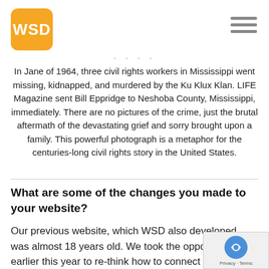[Figure (logo): WSD logo - orange rounded square with white bold text WSD]
In Jane of 1964, three civil rights workers in Mississippi went missing, kidnapped, and murdered by the Ku Klux Klan. LIFE Magazine sent Bill Eppridge to Neshoba County, Mississippi, immediately. There are no pictures of the crime, just the brutal aftermath of the devastating grief and sorry brought upon a family. This powerful photograph is a metaphor for the centuries-long civil rights story in the United States.
What are some of the changes you made to your website?
Our previous website, which WSD also developed, was almost 18 years old. We took the opportunity earlier this year to re-think how to connect and impact people, virtually. We wanted to carry over the feeling of our physical location to our website. As a result, people who visit www.monroegallery.com